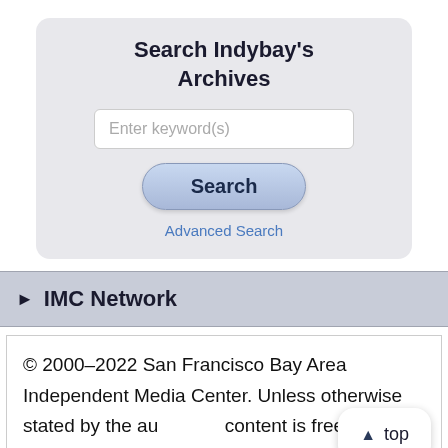[Figure (screenshot): Search Indybay's Archives widget with a text input field, a Search button, and an Advanced Search link]
▶ IMC Network
© 2000–2022 San Francisco Bay Area Independent Media Center. Unless otherwise stated by the author, all content is free for non-commercial reuse, reprint, and rebroadcast, on the net and elsewhere. Opinions are those of the contributors and are not necessarily endorsed by